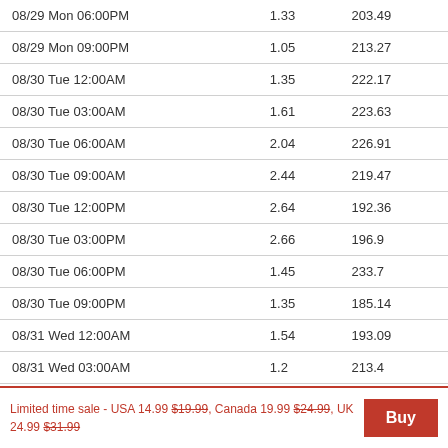| 08/29 Mon 06:00PM | 1.33 | 203.49 |
| 08/29 Mon 09:00PM | 1.05 | 213.27 |
| 08/30 Tue 12:00AM | 1.35 | 222.17 |
| 08/30 Tue 03:00AM | 1.61 | 223.63 |
| 08/30 Tue 06:00AM | 2.04 | 226.91 |
| 08/30 Tue 09:00AM | 2.44 | 219.47 |
| 08/30 Tue 12:00PM | 2.64 | 192.36 |
| 08/30 Tue 03:00PM | 2.66 | 196.9 |
| 08/30 Tue 06:00PM | 1.45 | 233.7 |
| 08/30 Tue 09:00PM | 1.35 | 185.14 |
| 08/31 Wed 12:00AM | 1.54 | 193.09 |
| 08/31 Wed 03:00AM | 1.2 | 213.4 |
| 08/31 Wed 06:00AM | 1.03 | 207.74 |
Limited time sale - USA 14.99 $19.99, Canada 19.99 $24.99, UK 24.99 $31.99